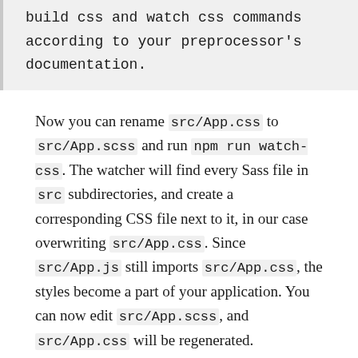build css and watch css commands according to your preprocessor's documentation.
Now you can rename src/App.css to src/App.scss and run npm run watch-css. The watcher will find every Sass file in src subdirectories, and create a corresponding CSS file next to it, in our case overwriting src/App.css. Since src/App.js still imports src/App.css, the styles become a part of your application. You can now edit src/App.scss, and src/App.css will be regenerated.
To share variables between Sass files, you can use Sass imports. For example, src/App.scss and